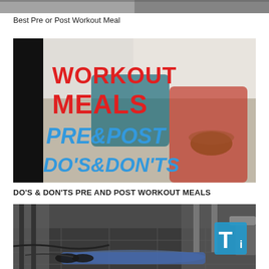[Figure (photo): Partial top photo strip, cropped image of workout-related content]
Best Pre or Post Workout Meal
[Figure (photo): Thumbnail image with bold text: WORKOUT MEALS PRE&POST DO'S&DON'TS in red and blue letters over photo of man and woman in kitchen eating]
DO'S & DON'TS PRE AND POST WORKOUT MEALS
[Figure (photo): Photo of gym floor with exercise equipment and person lying on ground, with a blue T logo watermark in corner]